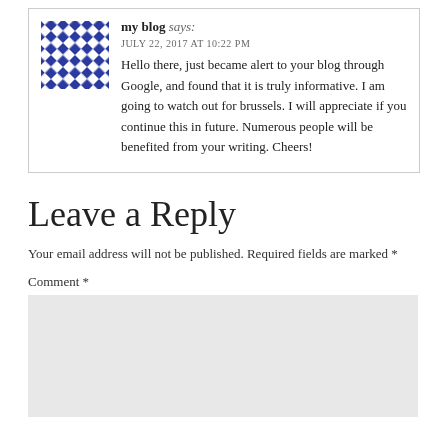[Figure (illustration): Blue and white checkered/diamond pattern avatar image]
my blog says:
JULY 22, 2017 AT 10:22 PM
Hello there, just became alert to your blog through Google, and found that it is truly informative. I am going to watch out for brussels. I will appreciate if you continue this in future. Numerous people will be benefited from your writing. Cheers!
Leave a Reply
Your email address will not be published. Required fields are marked *
Comment *